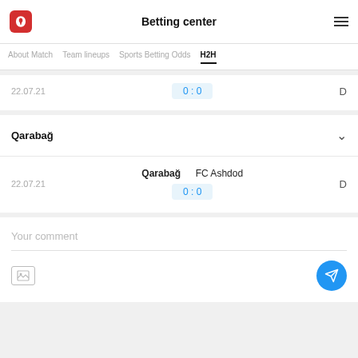Betting center
About Match  Team lineups  Sports Betting Odds  H2H
22.07.21   0 : 0   D
Qarabağ
22.07.21  Qarabağ  FC Ashdod  0 : 0  D
Your comment